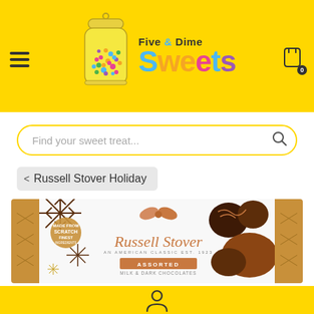[Figure (logo): Five & Dime Sweets candy store logo with candy jar and colorful text]
[Figure (screenshot): Search bar with placeholder text 'Find your sweet treat...' and search icon]
< Russell Stover Holiday
[Figure (photo): Russell Stover Assorted Milk & Dark Chocolates holiday box product image]
[Figure (illustration): User/person icon in footer]